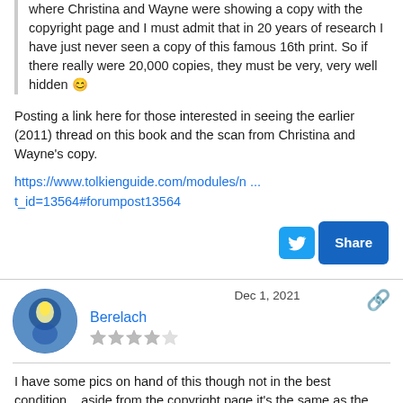where Christina and Wayne were showing a copy with the copyright page and I must admit that in 20 years of research I have just never seen a copy of this famous 16th print. So if there really were 20,000 copies, they must be very, very well hidden 😊
Posting a link here for those interested in seeing the earlier (2011) thread on this book and the scan from Christina and Wayne's copy.
https://www.tolkienguide.com/modules/n ... t_id=13564#forumpost13564
Dec 1, 2021
[Figure (photo): User avatar for Berelach: circular avatar showing a glowing fantasy figure in blue and yellow tones]
Berelach
[Figure (other): Star rating: 3 out of 5 stars (3 filled, 2 empty)]
I have some pics on hand of this though not in the best condition... aside from the copyright page it's the same as the next several impressions.
[Figure (photo): Partial image of a book or document page, warm brown/tan tones at top]